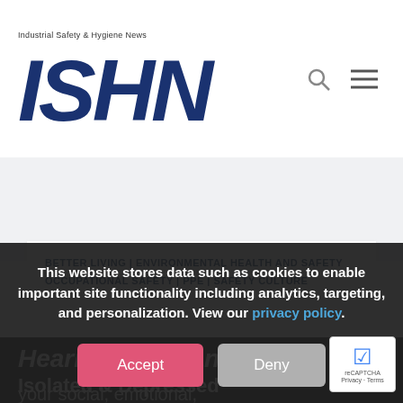[Figure (logo): ISHN (Industrial Safety & Hygiene News) logo in dark navy blue, bold italic letters, with tagline above]
BETTER LIVING | ENVIRONMENTAL HEALTH AND SAFETY OCCUPATIONAL SAFETY | PPE | SAFETY CULTURE
Hearing loss can affect your social, emotional, and physical life
Isolated & Depressed
This website stores data such as cookies to enable important site functionality including analytics, targeting, and personalization. View our privacy policy.
Accept
Deny